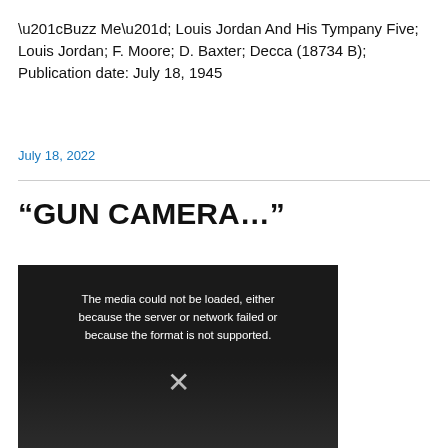“Buzz Me”; Louis Jordan And His Tympany Five; Louis Jordan; F. Moore; D. Baxter; Decca (18734 B); Publication date: July 18, 1945
July 18, 2022
“GUN CAMERA…”
[Figure (screenshot): Video player showing a media error message on a dark background: 'The media could not be loaded, either because the server or network failed or because the format is not supported.' with an X symbol below.]